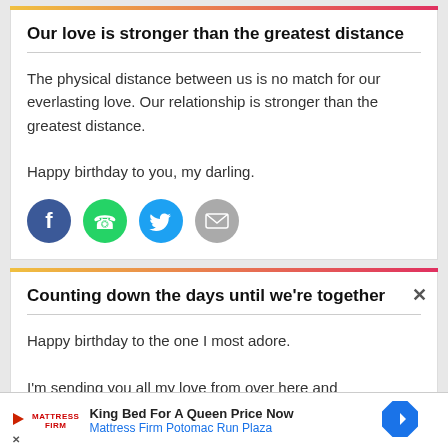Our love is stronger than the greatest distance
The physical distance between us is no match for our everlasting love. Our relationship is stronger than the greatest distance.

Happy birthday to you, my darling.
[Figure (infographic): Four social share icons: Facebook (blue circle with f), WhatsApp (green circle with phone/chat icon), Twitter (cyan circle with bird), Email (grey circle with envelope)]
Counting down the days until we're together
Happy birthday to the one I most adore.

I'm sending you all my love from over here and
[Figure (infographic): Advertisement bar: Mattress Firm – King Bed For A Queen Price Now – Mattress Firm Potomac Run Plaza, with blue diamond arrow icon and close X button]